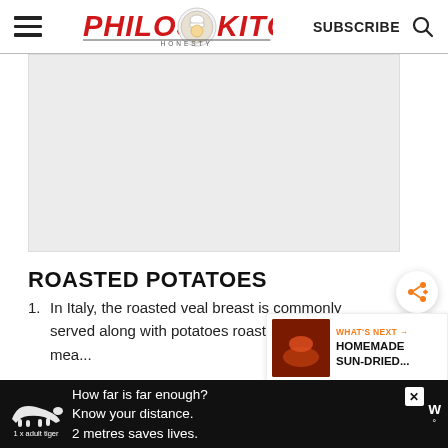PHILOS KITCHEN | SUBSCRIBE
[Figure (photo): Gray placeholder image area representing a food photo]
ROASTED POTATOES
In Italy, the roasted veal breast is commonly served along with potatoes roasted in the mea...
If you desire to prepare the
[Figure (infographic): COVID-19 social distancing ad banner: silhouette of tiger with text '1 x adult tiger', 'How far is far enough? Know your distance. 2 metres saves lives.' with X close button and weather app logo]